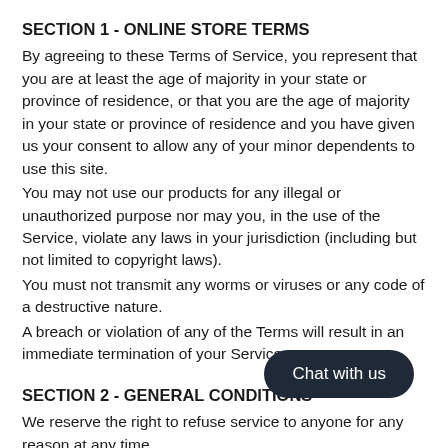SECTION 1 - ONLINE STORE TERMS
By agreeing to these Terms of Service, you represent that you are at least the age of majority in your state or province of residence, or that you are the age of majority in your state or province of residence and you have given us your consent to allow any of your minor dependents to use this site.
You may not use our products for any illegal or unauthorized purpose nor may you, in the use of the Service, violate any laws in your jurisdiction (including but not limited to copyright laws).
You must not transmit any worms or viruses or any code of a destructive nature.
A breach or violation of any of the Terms will result in an immediate termination of your Services.
SECTION 2 - GENERAL CONDITIONS
We reserve the right to refuse service to anyone for any reason at any time.
You understand that your content (not including credit card information), may be transferred unencrypted and involve (a)